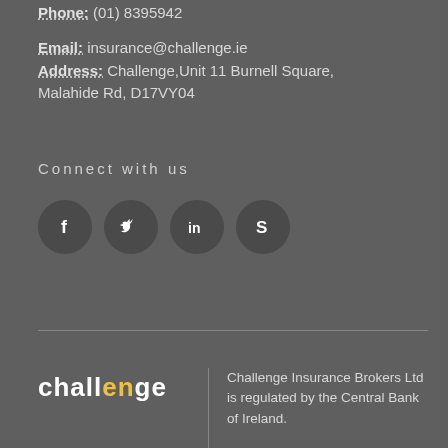Phone: (01) 8395942
Email: insurance@challenge.ie
Address: Challenge,Unit 11 Burnell Square, Malahide Rd, D17VY04
Connect with us
[Figure (illustration): Four social media icons in dark circles: Facebook (f), Twitter (bird), LinkedIn (in), Skype (S)]
challenge
Challenge Insurance Brokers Ltd is regulated by the Central Bank of Ireland.